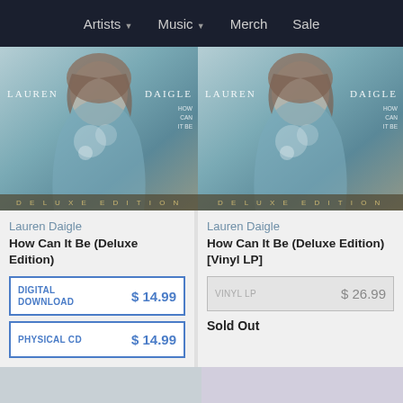Artists  Music  Merch  Sale
[Figure (photo): Album cover for Lauren Daigle 'How Can It Be' Deluxe Edition - left product card]
Lauren Daigle
How Can It Be (Deluxe Edition)
DIGITAL DOWNLOAD  $ 14.99
PHYSICAL CD  $ 14.99
[Figure (photo): Album cover for Lauren Daigle 'How Can It Be' Deluxe Edition - right product card]
Lauren Daigle
How Can It Be (Deluxe Edition) [Vinyl LP]
VINYL LP  $ 26.99
Sold Out